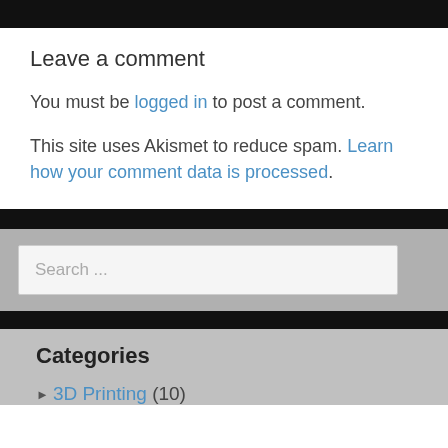Leave a comment
You must be logged in to post a comment.
This site uses Akismet to reduce spam. Learn how your comment data is processed.
Search ...
Categories
3D Printing (10)